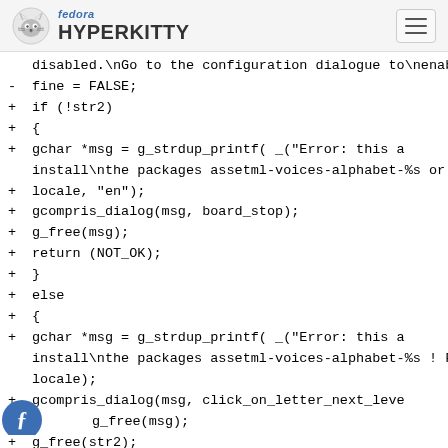fedora HYPERKITTY
[Figure (screenshot): Code diff showing additions and removals in monospace font. Lines show C code changes related to gchar, gcompris_dialog, g_free, return statements and else blocks.]